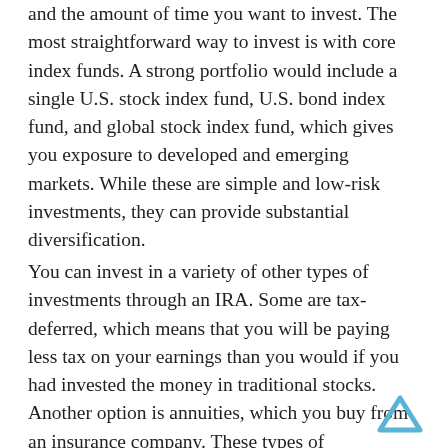and the amount of time you want to invest. The most straightforward way to invest is with core index funds. A strong portfolio would include a single U.S. stock index fund, U.S. bond index fund, and global stock index fund, which gives you exposure to developed and emerging markets. While these are simple and low-risk investments, they can provide substantial diversification.
You can invest in a variety of other types of investments through an IRA. Some are tax-deferred, which means that you will be paying less tax on your earnings than you would if you had invested the money in traditional stocks. Another option is annuities, which you buy from an insurance company. These types of investments offer tax-deferred growth and inflation protection. An annuity can generate regular pension-like income during retirement.